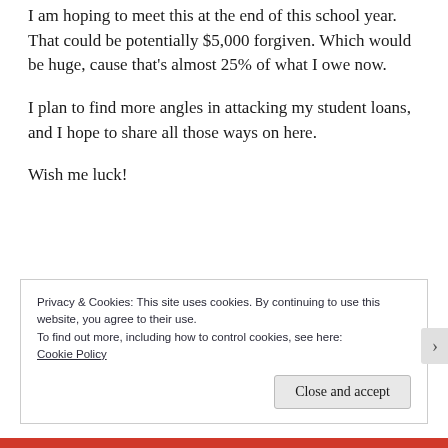I am hoping to meet this at the end of this school year. That could be potentially $5,000 forgiven. Which would be huge, cause that's almost 25% of what I owe now.
I plan to find more angles in attacking my student loans, and I hope to share all those ways on here.
Wish me luck!
Privacy & Cookies: This site uses cookies. By continuing to use this website, you agree to their use.
To find out more, including how to control cookies, see here: Cookie Policy